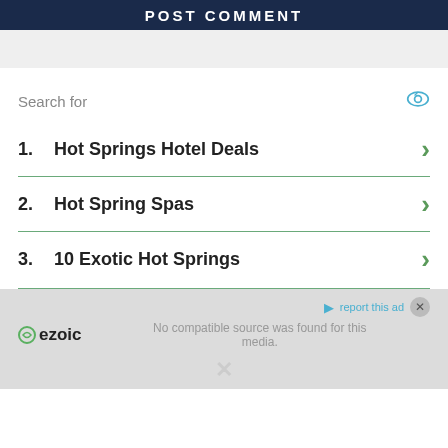POST COMMENT
Search for
1. Hot Springs Hotel Deals
2. Hot Spring Spas
3. 10 Exotic Hot Springs
[Figure (other): Ezoic ad overlay with no compatible source message and video placeholder with X close button]